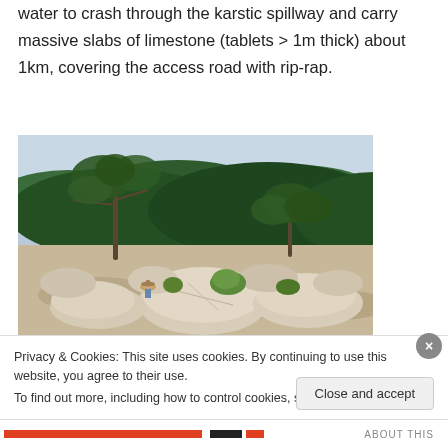water to crash through the karstic spillway and carry massive slabs of limestone (tablets > 1m thick) about 1km, covering the access road with rip-rap.
[Figure (photo): Outdoor photograph showing large limestone boulders and slabs scattered on a rocky surface with scrubby trees and dense green hillside vegetation in the background. A person in a hat is visible among the rocks.]
Privacy & Cookies: This site uses cookies. By continuing to use this website, you agree to their use.
To find out more, including how to control cookies, see here: Cookie Policy
Close and accept